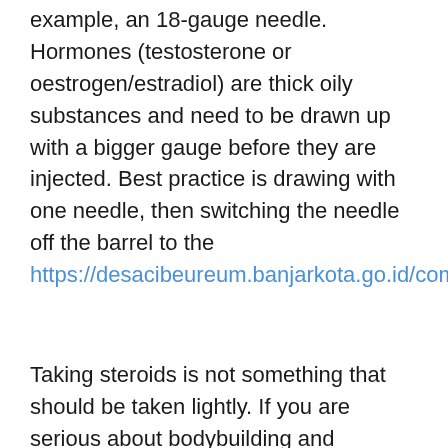example, an 18-gauge needle. Hormones (testosterone or oestrogen/estradiol) are thick oily substances and need to be drawn up with a bigger gauge before they are injected. Best practice is drawing with one needle, then switching the needle off the barrel to the https://desacibeureum.banjarkota.go.id/community/profile/crazyshop36978277/
Taking steroids is not something that should be taken lightly. If you are serious about bodybuilding and training, getting the right amounts can become a science, taking too high of a dose can cause side effects, too low of a dose may not give the results you would